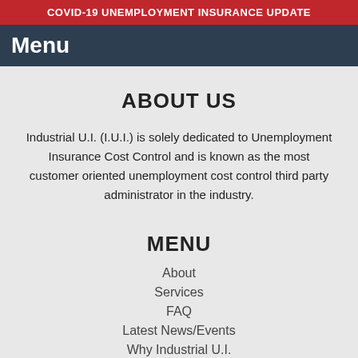COVID-19 UNEMPLOYMENT INSURANCE UPDATE
Menu
ABOUT US
Industrial U.I. (I.U.I.) is solely dedicated to Unemployment Insurance Cost Control and is known as the most customer oriented unemployment cost control third party administrator in the industry.
MENU
About
Services
FAQ
Latest News/Events
Why Industrial U.I.
Contact